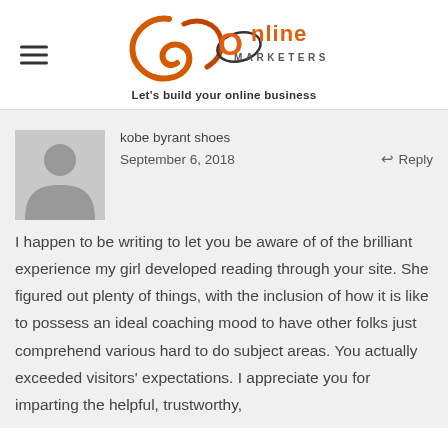[Figure (logo): JC Online Marketers logo with orange swirly letters and tagline 'Let's build your online business']
kobe byrant shoes
September 6, 2018
Reply
[Figure (photo): Default grey avatar silhouette placeholder image]
I happen to be writing to let you be aware of of the brilliant experience my girl developed reading through your site. She figured out plenty of things, with the inclusion of how it is like to possess an ideal coaching mood to have other folks just comprehend various hard to do subject areas. You actually exceeded visitors' expectations. I appreciate you for imparting the helpful, trustworthy,